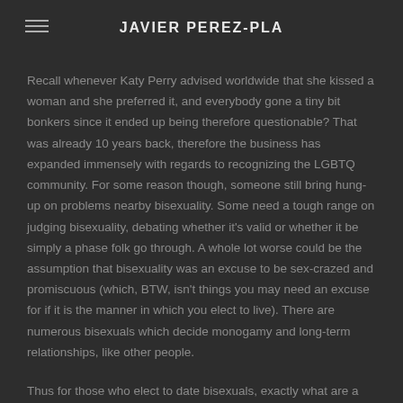JAVIER PEREZ-PLA
Recall whenever Katy Perry advised worldwide that she kissed a woman and she preferred it, and everybody gone a tiny bit bonkers since it ended up being therefore questionable? That was already 10 years back, therefore the business has expanded immensely with regards to recognizing the LGBTQ community. For some reason though, someone still bring hung-up on problems nearby bisexuality. Some need a tough range on judging bisexuality, debating whether it's valid or whether it be simply a phase folk go through. A whole lot worse could be the assumption that bisexuality was an excuse to be sex-crazed and promiscuous (which, BTW, isn't things you may need an excuse for if it is the manner in which you elect to live). There are numerous bisexuals which decide monogamy and long-term relationships, like other people.
Thus for those who elect to date bisexuals, exactly what are a few things to consider being maybe not let the tag will the head?